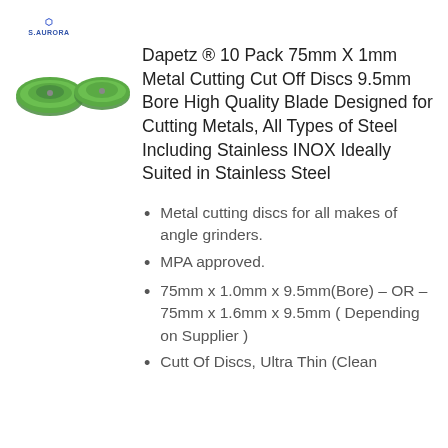[Figure (logo): S.AURORA brand logo with small icon above text]
[Figure (photo): Two green metal cutting discs viewed from above, partially visible]
Dapetz ® 10 Pack 75mm X 1mm Metal Cutting Cut Off Discs 9.5mm Bore High Quality Blade Designed for Cutting Metals, All Types of Steel Including Stainless INOX Ideally Suited in Stainless Steel
Metal cutting discs for all makes of angle grinders.
MPA approved.
75mm x 1.0mm x 9.5mm(Bore) – OR – 75mm x 1.6mm x 9.5mm ( Depending on Supplier )
Cutt Of Discs, Ultra Thin (Clean